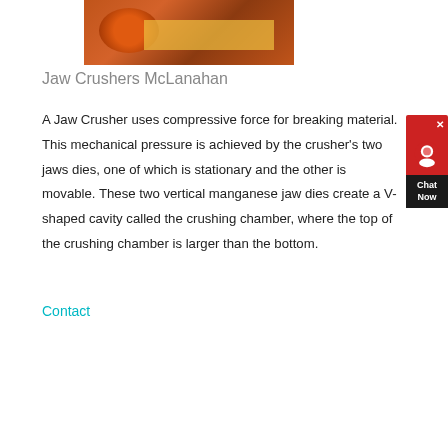[Figure (photo): Orange industrial jaw crusher machine with yellow metal framework, photographed from ground level at a mining or quarrying site.]
Jaw Crushers McLanahan
A Jaw Crusher uses compressive force for breaking material. This mechanical pressure is achieved by the crusher's two jaws dies, one of which is stationary and the other is movable. These two vertical manganese jaw dies create a V-shaped cavity called the crushing chamber, where the top of the crushing chamber is larger than the bottom.
Contact
[Figure (photo): Wide-angle photo of an industrial crushing plant facility with orange machinery, conveyors, and structures under a grey overcast sky.]